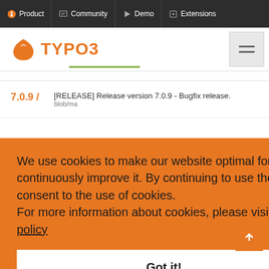Product | Community | Demo | Extensions
[Figure (logo): TYPO3 logo with orange icon and text TYPO3]
[RELEASE] Release version 7.0.9 - Bugfix release.
7.0.9 /
blob/ma
We use cookies to make our website optimal for you and to continuously improve it. By continuing to use the site, you consent to the use of cookies.
For more information about cookies, please visit our privacy policy
Got it!
release.
nott/ma
[RELEASE] Release version 7.0.7 - Bugfix release.